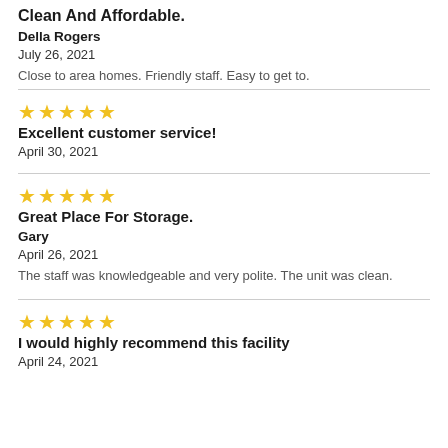Clean And Affordable.
Della Rogers
July 26, 2021
Close to area homes. Friendly staff. Easy to get to.
[Figure (other): 5 gold stars rating]
Excellent customer service!
April 30, 2021
[Figure (other): 5 gold stars rating]
Great Place For Storage.
Gary
April 26, 2021
The staff was knowledgeable and very polite. The unit was clean.
[Figure (other): 5 gold stars rating]
I would highly recommend this facility
April 24, 2021